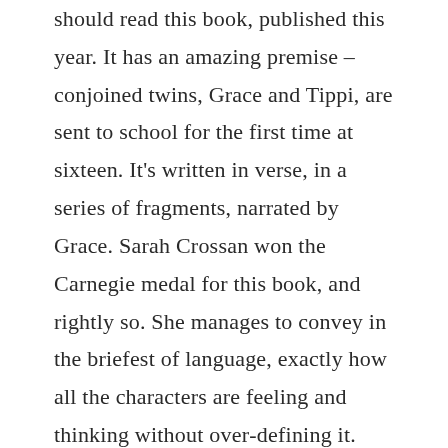should read this book, published this year. It has an amazing premise – conjoined twins, Grace and Tippi, are sent to school for the first time at sixteen. It's written in verse, in a series of fragments, narrated by Grace. Sarah Crossan won the Carnegie medal for this book, and rightly so. She manages to convey in the briefest of language, exactly how all the characters are feeling and thinking without over-defining it. There is nothing moralistic or patronising about this book – it's simply a story about a pair of characters whose story is rarely told. The book is quite thick, but